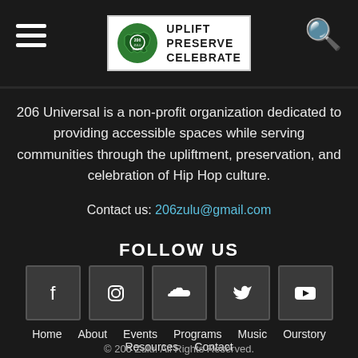[Figure (logo): 206 Zulu logo with Washington state outline, circular emblem, and text UPLIFT PRESERVE CELEBRATE]
206 Universal is a non-profit organization dedicated to providing accessible spaces while serving communities through the upliftment, preservation, and celebration of Hip Hop culture.
Contact us: 206zulu@gmail.com
FOLLOW US
[Figure (infographic): Row of 5 social media icon buttons: Facebook, Instagram, SoundCloud, Twitter, YouTube]
Home   About   Events   Programs   Music   Ourstory   Resources   Contact
© 206 Zulu. All Rights Reserved.